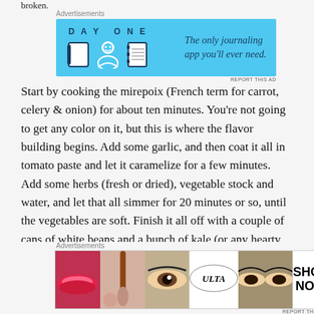broken.
Advertisements
[Figure (screenshot): DAY ONE journaling app advertisement on blue background. Icons of a journal, person, and notebook on the left. Text reads 'The only journaling app you'll ever need.' on the right.]
Start by cooking the mirepoix (French term for carrot, celery & onion) for about ten minutes. You're not going to get any color on it, but this is where the flavor building begins. Add some garlic, and then coat it all in tomato paste and let it caramelize for a few minutes. Add some herbs (fresh or dried), vegetable stock and water, and let that all simmer for 20 minutes or so, until the vegetables are soft. Finish it all off with a couple of cans of white beans and a bunch of kale (or any hearty green) and let them warm through, then
Advertisements
[Figure (screenshot): ULTA Beauty advertisement. Multiple close-up images of eyes and lips with makeup, an ULTA logo in the center, and a 'SHOP NOW' button on the right.]